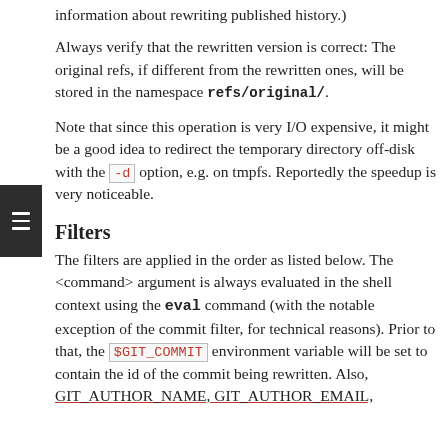information about rewriting published history.)
Always verify that the rewritten version is correct: The original refs, if different from the rewritten ones, will be stored in the namespace refs/original/.
Note that since this operation is very I/O expensive, it might be a good idea to redirect the temporary directory off-disk with the -d option, e.g. on tmpfs. Reportedly the speedup is very noticeable.
Filters
The filters are applied in the order as listed below. The <command> argument is always evaluated in the shell context using the eval command (with the notable exception of the commit filter, for technical reasons). Prior to that, the $GIT_COMMIT environment variable will be set to contain the id of the commit being rewritten. Also, GIT_AUTHOR_NAME, GIT_AUTHOR_EMAIL,